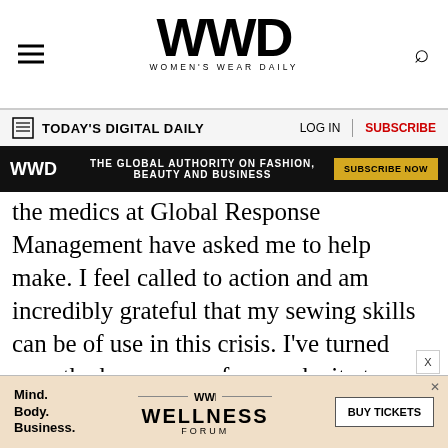WWD WOMEN'S WEAR DAILY
TODAY'S DIGITAL DAILY | LOG IN | SUBSCRIBE
[Figure (infographic): WWD black banner ad: 'THE GLOBAL AUTHORITY ON FASHION, BEAUTY AND BUSINESS' with 'SUBSCRIBE NOW' yellow button]
the medics at Global Response Management have asked me to help make. I feel called to action and am incredibly grateful that my sewing skills can be of use in this crisis. I've turned over the homepage of my web site to instructions on how to make the fabric face masks. You can download and print the pattern at home, there are links to buy the supplies, step-by-step instructional video, and suggestions on where to donate the masks.
[Figure (infographic): WWD Wellness Forum advertisement with 'Mind. Body. Business.' text and 'BUY TICKETS' button on peach/salmon background]